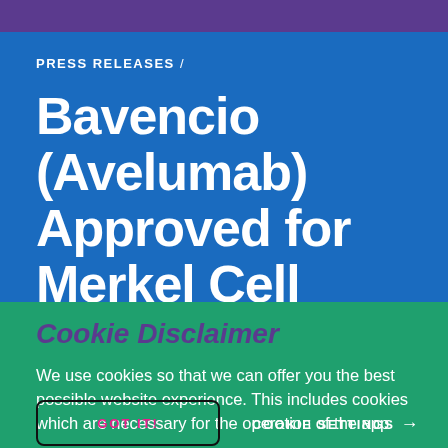PRESS RELEASES /
Bavencio (Avelumab) Approved for Merkel Cell Carcinoma in
Cookie Disclaimer
We use cookies so that we can offer you the best possible website experience. This includes cookies which are necessary for the operation of the app
GOT IT!
COOKIE SETTINGS →